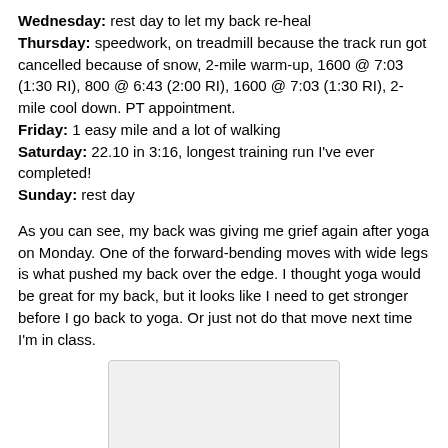Wednesday: rest day to let my back re-heal
Thursday: speedwork, on treadmill because the track run got cancelled because of snow, 2-mile warm-up, 1600 @ 7:03 (1:30 RI), 800 @ 6:43 (2:00 RI), 1600 @ 7:03 (1:30 RI), 2-mile cool down. PT appointment.
Friday: 1 easy mile and a lot of walking
Saturday: 22.10 in 3:16, longest training run I've ever completed!
Sunday: rest day
As you can see, my back was giving me grief again after yoga on Monday. One of the forward-bending moves with wide legs is what pushed my back over the edge. I thought yoga would be great for my back, but it looks like I need to get stronger before I go back to yoga. Or just not do that move next time I'm in class.
[Figure (other): A light gray rectangular image placeholder with rounded corners]